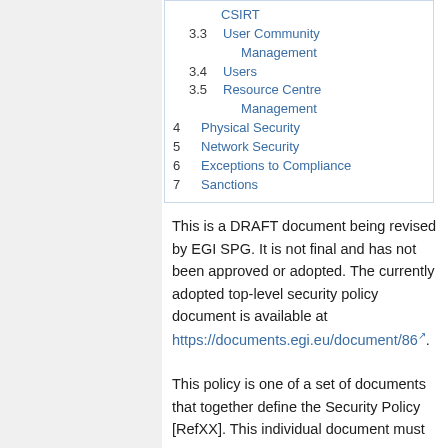CSIRT
3.3 User Community Management
3.4 Users
3.5 Resource Centre Management
4 Physical Security
5 Network Security
6 Exceptions to Compliance
7 Sanctions
This is a DRAFT document being revised by EGI SPG. It is not final and has not been approved or adopted. The currently adopted top-level security policy document is available at https://documents.egi.eu/document/86.
This policy is one of a set of documents that together define the Security Policy [RefXX]. This individual document must